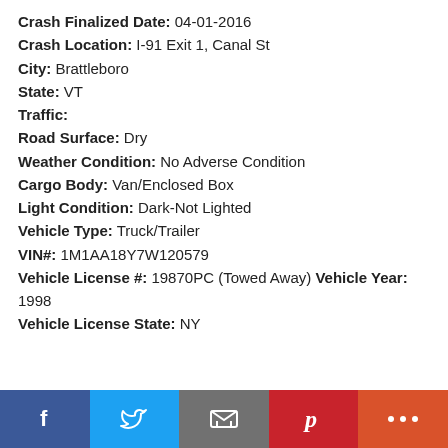Crash Finalized Date: 04-01-2016
Crash Location: I-91 Exit 1, Canal St
City: Brattleboro
State: VT
Traffic:
Road Surface: Dry
Weather Condition: No Adverse Condition
Cargo Body: Van/Enclosed Box
Light Condition: Dark-Not Lighted
Vehicle Type: Truck/Trailer
VIN#: 1M1AA18Y7W120579
Vehicle License #: 19870PC (Towed Away) Vehicle Year: 1998
Vehicle License State: NY